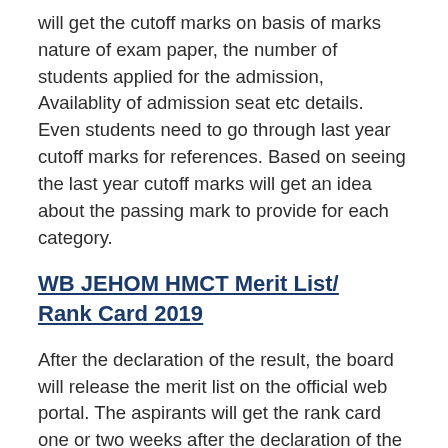will get the cutoff marks on basis of marks nature of exam paper, the number of students applied for the admission, Availablity of admission seat etc details. Even students need to go through last year cutoff marks for references. Based on seeing the last year cutoff marks will get an idea about the passing mark to provide for each category.
WB JEHOM HMCT Merit List/ Rank Card 2019
After the declaration of the result, the board will release the merit list on the official web portal. The aspirants will get the rank card one or two weeks after the declaration of the result. The aspirants may get the merit list in the month of July 2019. The students need to download the